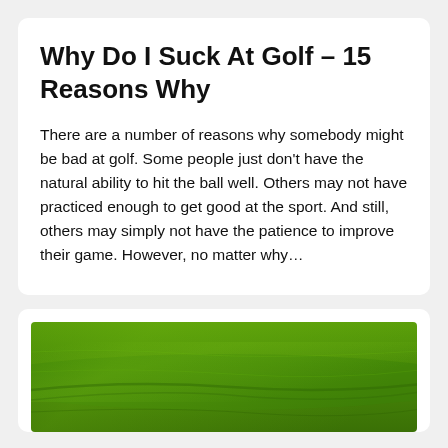Why Do I Suck At Golf – 15 Reasons Why
There are a number of reasons why somebody might be bad at golf. Some people just don't have the natural ability to hit the ball well. Others may not have practiced enough to get good at the sport. And still, others may simply not have the patience to improve their game. However, no matter why…
[Figure (photo): A green golf course fairway or grass surface photographed close up, showing green turf with light texture and subtle curves.]